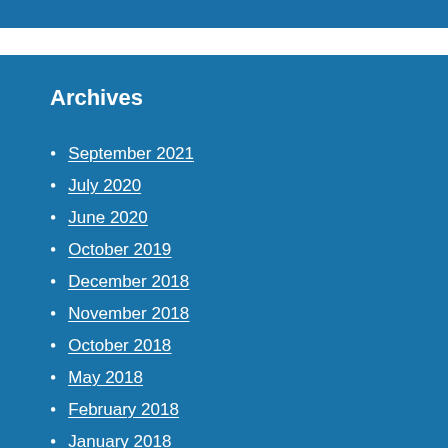Archives
September 2021
July 2020
June 2020
October 2019
December 2018
November 2018
October 2018
May 2018
February 2018
January 2018
December 2017
November 2017